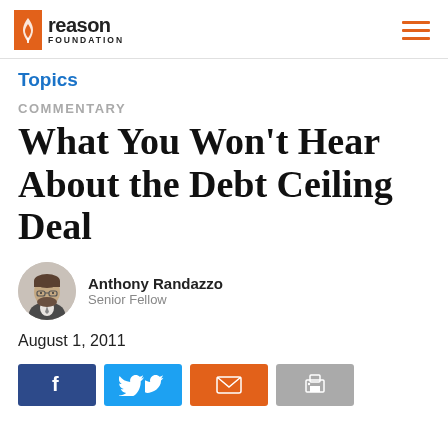Reason Foundation
Topics
COMMENTARY
What You Won't Hear About the Debt Ceiling Deal
Anthony Randazzo
Senior Fellow
August 1, 2011